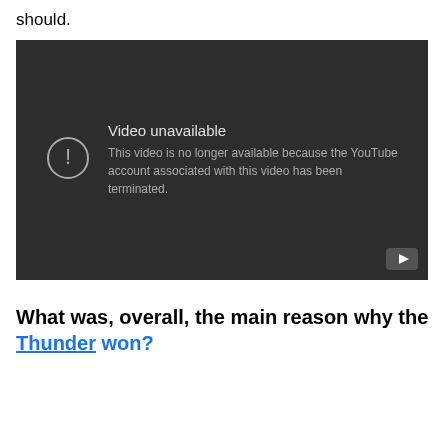should.
[Figure (screenshot): Embedded YouTube video player showing error: 'Video unavailable. This video is no longer available because the YouTube account associated with this video has been terminated.']
What was, overall, the main reason why the Thunder won?